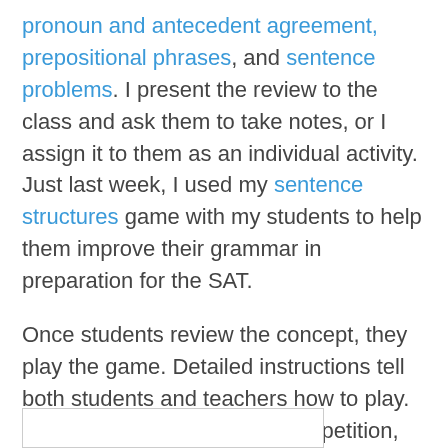pronoun and antecedent agreement, prepositional phrases, and sentence problems. I present the review to the class and ask them to take notes, or I assign it to them as an individual activity. Just last week, I used my sentence structures game with my students to help them improve their grammar in preparation for the SAT.
Once students review the concept, they play the game. Detailed instructions tell both students and teachers how to play. If the game will be a class competition, students print (or mark) the “score sheet” to record earned points after each “trashket.”
Basically, as the students progress through the questions, they click on their answer choices. If they’re incorrect, they click on an arrow to return the question and they get to try again.